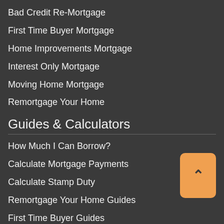Bad Credit Re-Mortgage
First Time Buyer Mortgage
Home Improvements Mortgage
Interest Only Mortgage
Moving Home Mortgage
Remortgage Your Home
Guides & Calculators
How Much I Can Borrow?
Calculate Mortgage Payments
Calculate Stamp Duty
Remortgage Your Home Guides
First Time Buyer Guides
Buy To Let Guides
Home Buyers Guides
Information